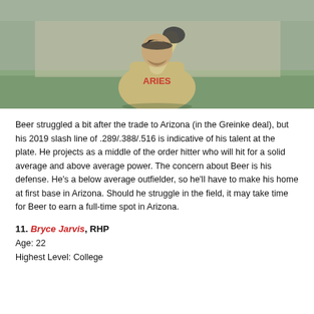[Figure (photo): Baseball player in a tan/beige uniform with red lettering, raising one arm, photographed outdoors on a baseball field]
Beer struggled a bit after the trade to Arizona (in the Greinke deal), but his 2019 slash line of .289/.388/.516 is indicative of his talent at the plate. He projects as a middle of the order hitter who will hit for a solid average and above average power. The concern about Beer is his defense. He’s a below average outfielder, so he’ll have to make his home at first base in Arizona. Should he struggle in the field, it may take time for Beer to earn a full-time spot in Arizona.
11. Bryce Jarvis, RHP
Age: 22
Highest Level: College